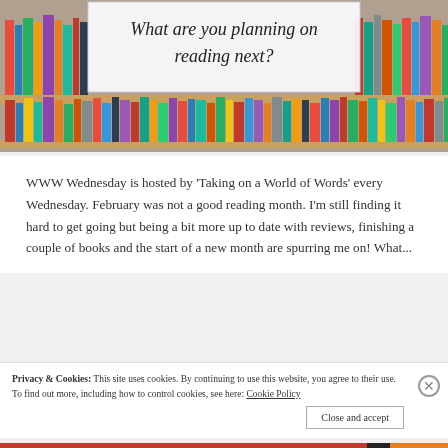[Figure (photo): Photograph of a bookshelf filled with colorful books, with a white overlay box in the center-top area containing the title text 'What are you planning on reading next?']
What are you planning on reading next?
WWW Wednesday is hosted by 'Taking on a World of Words' every Wednesday. February was not a good reading month. I'm still finding it hard to get going but being a bit more up to date with reviews, finishing a couple of books and the start of a new month are spurring me on! What...
Privacy & Cookies: This site uses cookies. By continuing to use this website, you agree to their use.
To find out more, including how to control cookies, see here: Cookie Policy